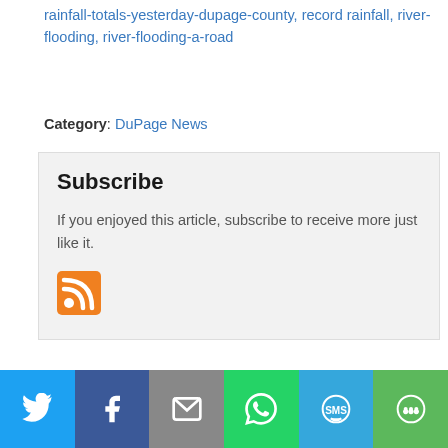rainfall-totals-yesterday-dupage-county, record rainfall, river-flooding, river-flooding-a-road
Category: DuPage News
Subscribe
If you enjoyed this article, subscribe to receive more just like it.
[Figure (illustration): RSS feed orange icon]
Leave a Reply
Name
[Figure (infographic): Social sharing bar with Twitter, Facebook, Email, WhatsApp, SMS, and More buttons]